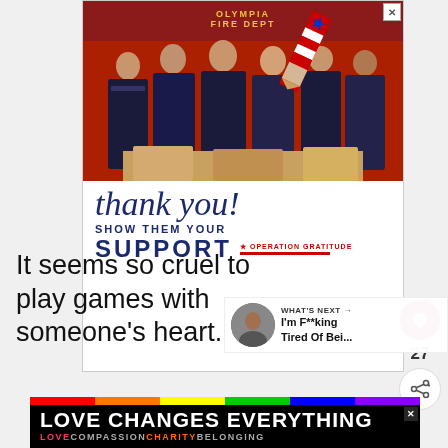[Figure (photo): Advertisement banner for Operation Gratitude showing firefighters from Olympia Fire Dept posing with supplies, with a patriotic pencil graphic and cursive 'thank you!' text, and bold text 'SHOW THEM YOUR SUPPORT OPERATION GRATITUDE']
It seems so cruel to play games with someone's heart.
[Figure (screenshot): 'WHAT'S NEXT' panel with thumbnail image and title 'I'm F**king Tired Of Bei...']
[Figure (infographic): Rainbow-colored ad banner with bold white text 'LOVE CHANGES EVERYTHING' and tagline 'LOVE COMPASSION CHARITY BELONGING' on black background]